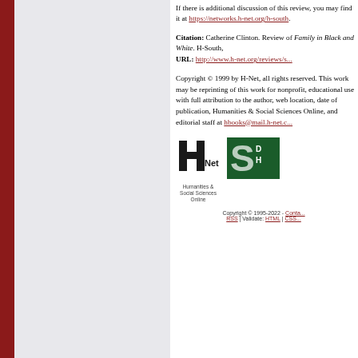If there is additional discussion of this review, you may find it at https://networks.h-net.org/h-south.
Citation: Catherine Clinton. Review of Family in Black and White. H-South, URL: http://www.h-net.org/reviews/s...
Copyright © 1999 by H-Net, all rights reserved. This work may be reprinting of this work for nonprofit, educational use with full attribution to the author, web location, date of publication, Humanities & Social Sciences Online, and editorial staff at hbooks@mail.h-net.c...
[Figure (logo): H-Net Humanities & Social Sciences Online logo]
[Figure (logo): MSU / D H logo green background]
Copyright © 1995-2022 - Conta... RSS | Validate: HTML | CSS